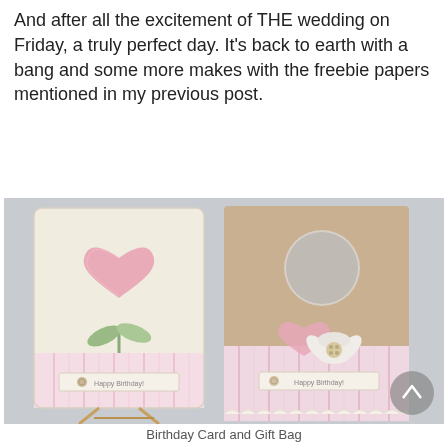And after all the excitement of THE wedding on Friday, a truly perfect day. It's back to earth with a bang and some more makes with the freebie papers mentioned in my previous post.
[Figure (photo): Two handmade birthday cards with soft pink and cream floral designs. The left card sits on a small wooden easel and features a heart-shaped flower with green leaves on a linen-look background with pink striped paper at the bottom and a 'Happy Birthday' banner. The right card is a kraft-coloured gift bag/card with a circular mirror cutout at top, decorated with pink hearts, a white flower embellishment with buttons, pink striped paper and lace trim at the bottom, also with a 'Happy Birthday' banner.]
Birthday Card and Gift Bag